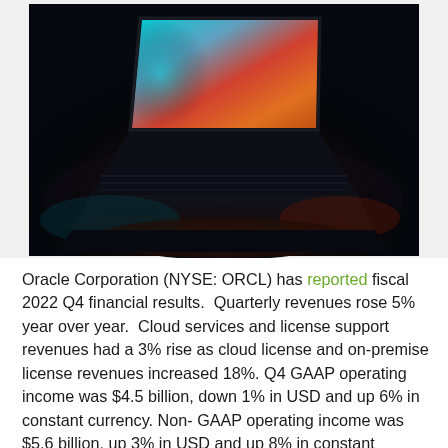[Figure (photo): A laptop computer partially open on a dark surface, with a colorful gradient screen (orange, pink, blue tones) illuminating the keyboard and surrounding area in darkness.]
Oracle Corporation (NYSE: ORCL) has reported fiscal 2022 Q4 financial results.  Quarterly revenues rose 5% year over year.  Cloud services and license support revenues had a 3% rise as cloud license and on-premise license revenues increased 18%. Q4 GAAP operating income was $4.5 billion, down 1% in USD and up 6% in constant currency. Non-GAAP operating income was $5.6 billion, up 3% in USD and up 8% in constant currency. GAAP